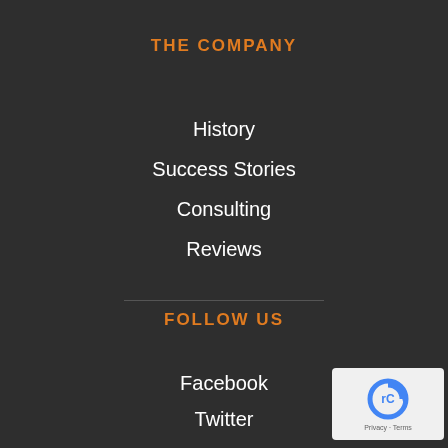THE COMPANY
History
Success Stories
Consulting
Reviews
FOLLOW US
Facebook
Twitter
LinkedIn